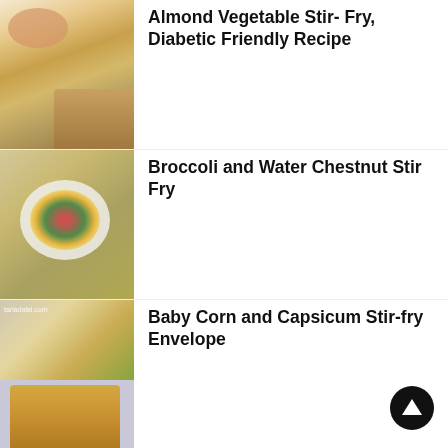[Figure (photo): Photo of Almond Vegetable Stir-Fry dish on a plate with sauce cups]
Almond Vegetable Stir- Fry, Diabetic Friendly Recipe
[Figure (photo): Photo of Broccoli and Water Chestnut Stir Fry in a white bowl on a bamboo mat]
Broccoli and Water Chestnut Stir Fry
[Figure (photo): Photo of Baby Corn and Capsicum Stir-fry Envelope with a flatbread/paratha, watermark: tarladalal.com]
Baby Corn and Capsicum Stir-fry Envelope